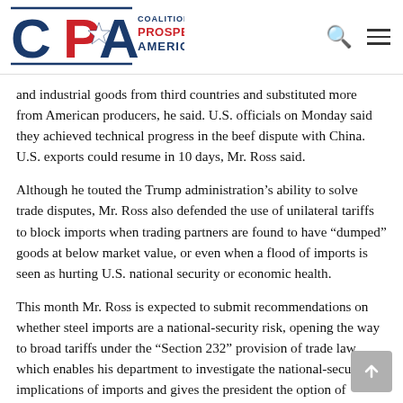Coalition for a Prosperous America
and industrial goods from third countries and substituted more from American producers, he said. U.S. officials on Monday said they achieved technical progress in the beef dispute with China. U.S. exports could resume in 10 days, Mr. Ross said.
Although he touted the Trump administration’s ability to solve trade disputes, Mr. Ross also defended the use of unilateral tariffs to block imports when trading partners are found to have “dumped” goods at below market value, or even when a flood of imports is seen as hurting U.S. national security or economic health.
This month Mr. Ross is expected to submit recommendations on whether steel imports are a national-security risk, opening the way to broad tariffs under the “Section 232” provision of trade law, which enables his department to investigate the national-security implications of imports and gives the president the option of restricting them when the investigation is complete.